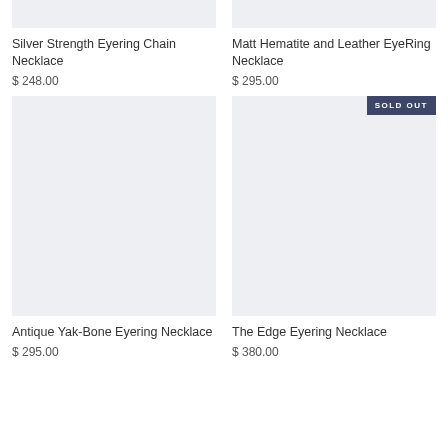[Figure (photo): Product image placeholder for Silver Strength Eyering Chain Necklace, light gray background]
Silver Strength Eyering Chain Necklace
$ 248.00
[Figure (photo): Product image placeholder for Matt Hematite and Leather EyeRing Necklace, light gray background]
Matt Hematite and Leather EyeRing Necklace
$ 295.00
[Figure (photo): Product image placeholder for Antique Yak-Bone Eyering Necklace, light gray background]
Antique Yak-Bone Eyering Necklace
$ 295.00
[Figure (photo): Product image placeholder for The Edge Eyering Necklace, light gray background, with SOLD OUT badge]
The Edge Eyering Necklace
$ 380.00